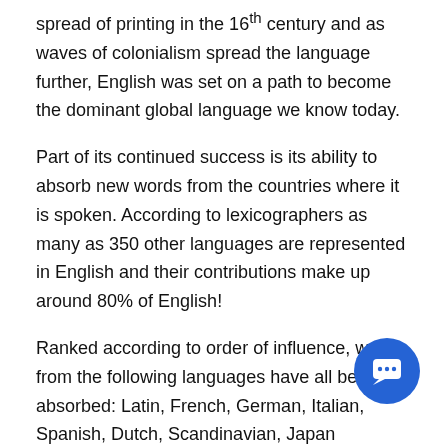spread of printing in the 16th century and as waves of colonialism spread the language further, English was set on a path to become the dominant global language we know today.
Part of its continued success is its ability to absorb new words from the countries where it is spoken. According to lexicographers as many as 350 other languages are represented in English and their contributions make up around 80% of English!
Ranked according to order of influence, words from the following languages have all been absorbed: Latin, French, German, Italian, Spanish, Dutch, Scandinavian, Japanese, Arabic, Portuguese, Sanskrit, Russian, Maori, Hindi, Hebrew, Persian, Malay, Urdu, Irish, Afrikaans, Yiddish, Chinese